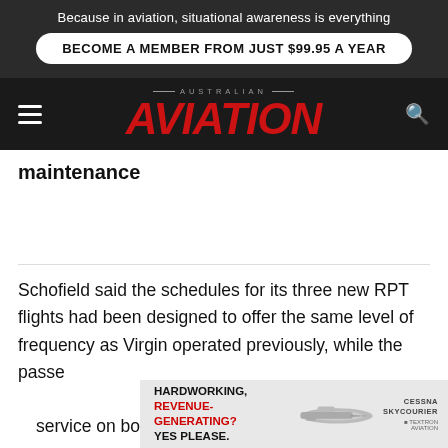Because in aviation, situational awareness is everything
BECOME A MEMBER FROM JUST $99.95 A YEAR
AUSTRALIAN AVIATION
maintenance
Schofield said the schedules for its three new RPT flights had been designed to offer the same level of frequency as Virgin operated previously, while the passenger service on board the aircraft.
[Figure (infographic): Cessna SkyCourier advertisement: HARDWORKING, REVENUE-GENERATING? YES PLEASE. with aircraft image and Cessna SkyCourier logo.]